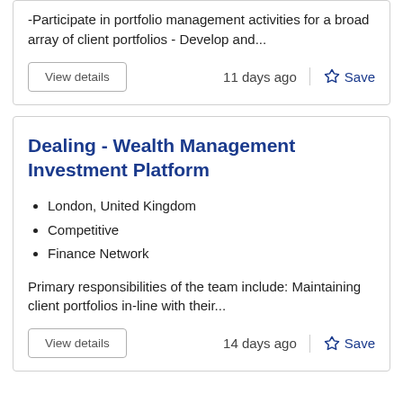-Participate in portfolio management activities for a broad array of client portfolios - Develop and...
11 days ago
Save
Dealing - Wealth Management Investment Platform
London, United Kingdom
Competitive
Finance Network
Primary responsibilities of the team include: Maintaining client portfolios in-line with their...
14 days ago
Save